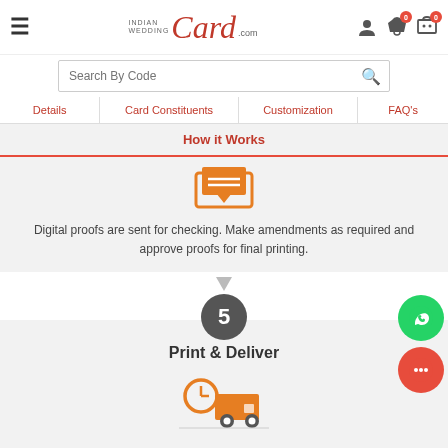[Figure (screenshot): IndianWeddingCard.com website header with hamburger menu, logo, user icon, wishlist with 0 badge, and cart with 0 badge]
Search By Code
Details | Card Constituents | Customization | FAQ's
How it Works
[Figure (illustration): Orange email/inbox icon representing digital proof sending step]
Digital proofs are sent for checking. Make amendments as required and approve proofs for final printing.
5
Print & Deliver
[Figure (illustration): Orange delivery truck with clock icon representing print and deliver step]
Order printed and delivered at your doorstep in stipulated time. Well packed, well printed and as perfect as you wanted.